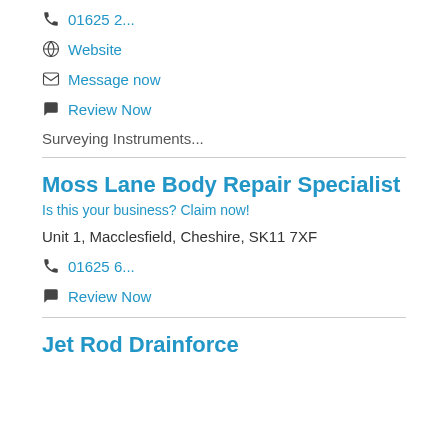📞 01625 2...
🌐 Website
✉ Message now
💬 Review Now
Surveying Instruments...
Moss Lane Body Repair Specialist
Is this your business? Claim now!
Unit 1, Macclesfield, Cheshire, SK11 7XF
📞 01625 6...
💬 Review Now
Jet Rod Drainforce